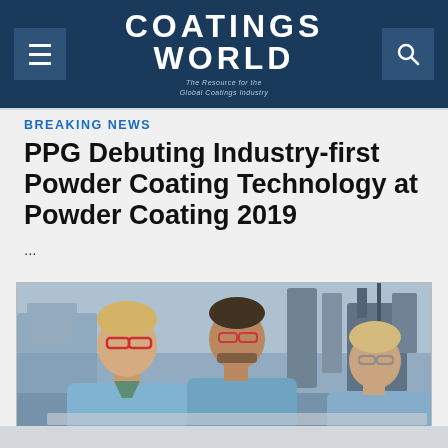COATINGS WORLD — The Resource for the Global Coatings Industry
BREAKING NEWS
PPG Debuting Industry-first Powder Coating Technology at Powder Coating 2019
...
[Figure (photo): Three laboratory workers in blue lab coats and safety glasses examining something in an industrial laboratory setting]